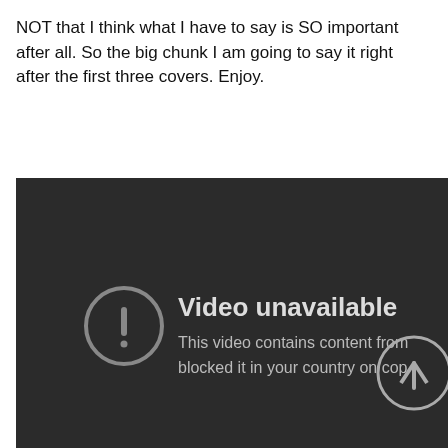NOT that I think what I have to say is SO important after all. So the big chunk I am going to say it right after the first three covers. Enjoy.
[Figure (screenshot): A YouTube-style video unavailable error screen with dark background. Shows a circle with exclamation mark icon and text 'Video unavailable' followed by 'This video contains content from [someone who has] blocked it in your country on cop[yright grounds]'. An arrow-up icon circle is partially visible at the right edge.]